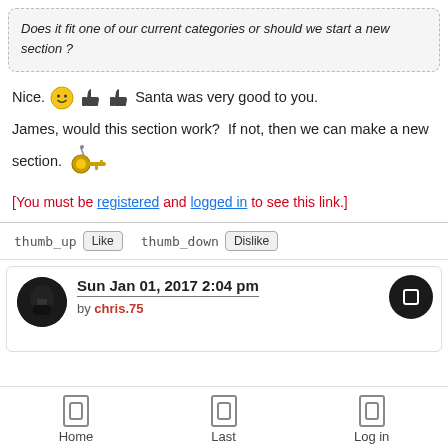Does it fit one of our current categories or should we start a new section ?
Nice. 😊 👍 👍 Santa was very good to you.
James, would this section work?  If not, then we can make a new section. 🗝
[You must be registered and logged in to see this link.]
thumb_up Like  thumb_down Dislike
Sun Jan 01, 2017 2:04 pm by chris.75
Home  Last  Log in